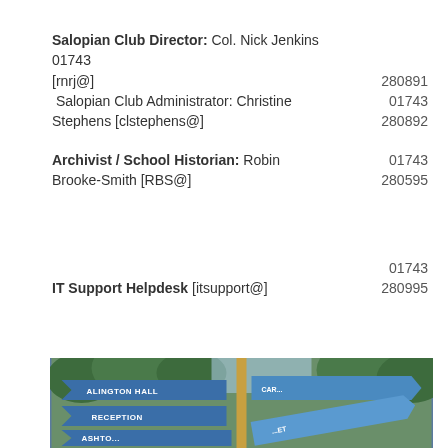Salopian Club Director: Col. Nick Jenkins 01743 [rnrj@] 280891 Salopian Club Administrator: Christine Stephens [clstephens@] 01743 280892
Archivist / School Historian: Robin Brooke-Smith [RBS@] 01743 280595
IT Support Helpdesk [itsupport@] 01743 280995
[Figure (photo): Photo of blue directional signpost with signs reading 'Alington Hall Reception', 'Ashton...' and other directions, with trees in background]